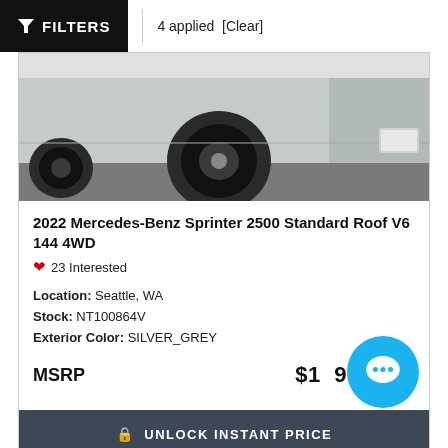FILTERS | 4 applied [Clear]
[Figure (photo): Partial view of a grey/silver Mercedes-Benz Sprinter 2500 van showing the rear wheel and lower body panel in a parking lot.]
2022 Mercedes-Benz Sprinter 2500 Standard Roof V6 144 4WD
❤ 23 Interested
Location: Seattle, WA
Stock: NT100864V
Exterior Color: SILVER_GREY
MSRP $1____9
UNLOCK INSTANT PRICE